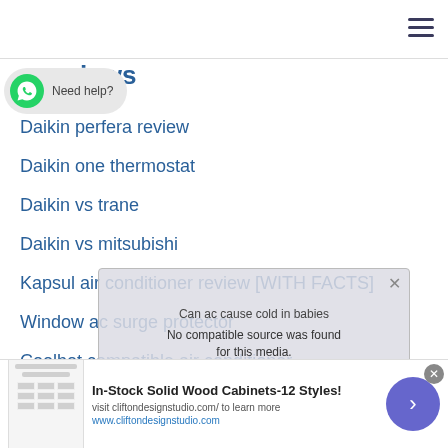Navigation bar with hamburger menu
[Figure (other): WhatsApp chat bubble with 'Need help?' text and WhatsApp icon]
...iews
Daikin perfera review
Daikin one thermostat
Daikin vs trane
Daikin vs mitsubishi
Kapsul air conditioner review [WITH FACTS]
Window ac surge protector
Coolbot compatible air conditioner
10/2 or 10/3 wire for air conditioner
[Figure (screenshot): Video overlay showing 'Can ac cause cold in babies' with 'No compatible source was found for this media.' message]
[Figure (screenshot): Ad banner: In-Stock Solid Wood Cabinets-12 Styles! visit cliftondesignstudio.com/ to learn more www.cliftondesignstudio.com]